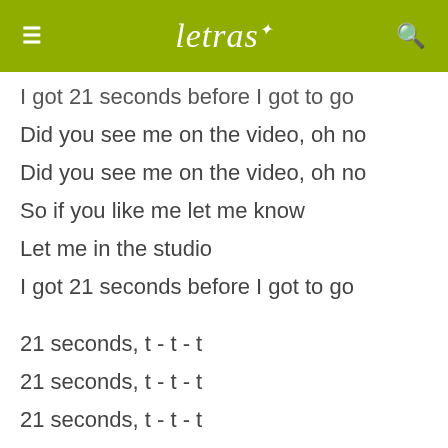letras
I got 21 seconds before I got to go
Did you see me on the video, oh no
Did you see me on the video, oh no
So if you like me let me know
Let me in the studio
I got 21 seconds before I got to go
21 seconds, t - t - t
21 seconds, t - t - t
21 seconds, t - t - t
21 seconds, t - t - t
LISA MAFFIA:
I got 21 seconds to Pass the mic
I got 21 seconds to say what I gotta say